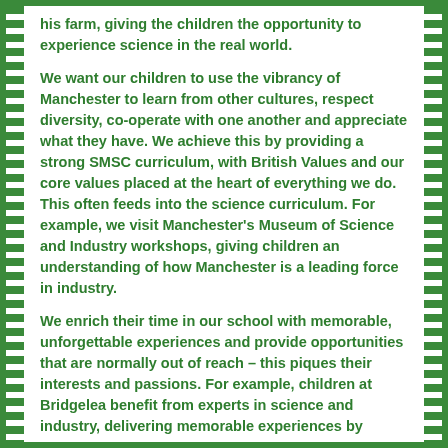his farm, giving the children the opportunity to experience science in the real world.
We want our children to use the vibrancy of Manchester to learn from other cultures, respect diversity, co-operate with one another and appreciate what they have. We achieve this by providing a strong SMSC curriculum, with British Values and our core values placed at the heart of everything we do. This often feeds into the science curriculum. For example, we visit Manchester's Museum of Science and Industry workshops, giving children an understanding of how Manchester is a leading force in industry.
We enrich their time in our school with memorable, unforgettable experiences and provide opportunities that are normally out of reach – this piques their interests and passions. For example, children at Bridgelea benefit from experts in science and industry, delivering memorable experiences by